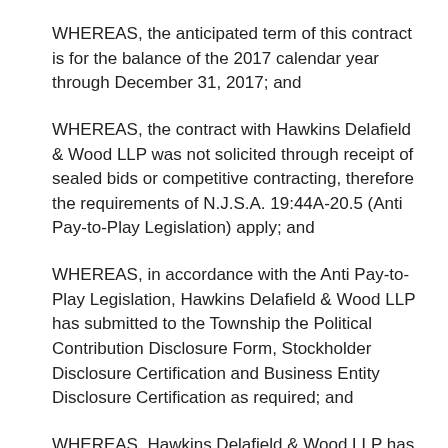WHEREAS, the anticipated term of this contract is for the balance of the 2017 calendar year through December 31, 2017; and
WHEREAS, the contract with Hawkins Delafield & Wood LLP was not solicited through receipt of sealed bids or competitive contracting, therefore the requirements of N.J.S.A. 19:44A-20.5 (Anti Pay-to-Play Legislation) apply; and
WHEREAS, in accordance with the Anti Pay-to-Play Legislation, Hawkins Delafield & Wood LLP has submitted to the Township the Political Contribution Disclosure Form, Stockholder Disclosure Certification and Business Entity Disclosure Certification as required; and
WHEREAS, Hawkins Delafield & Wood LLP has also submitted to the Township a New Jersey Business Registration Certificate, as required; and